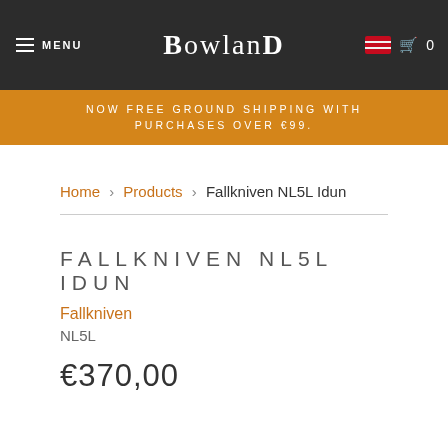MENU | BOWLAND | 0
NOW FREE GROUND SHIPPING WITH PURCHASES OVER €99.
Home › Products › Fallkniven NL5L Idun
FALLKNIVEN NL5L IDUN
Fallkniven
NL5L
€370,00